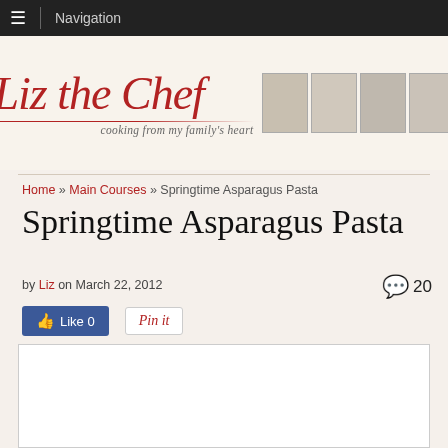≡ Navigation
[Figure (logo): Liz the Chef logo with cursive red text 'Liz the Chef' and subtitle 'cooking from my family's heart', with four vintage black-and-white portrait photos on the right]
Home » Main Courses » Springtime Asparagus Pasta
Springtime Asparagus Pasta
by Liz on March 22, 2012  💬 20
👍 Like 0   Pin it
[Figure (photo): Article food photo placeholder (white box)]